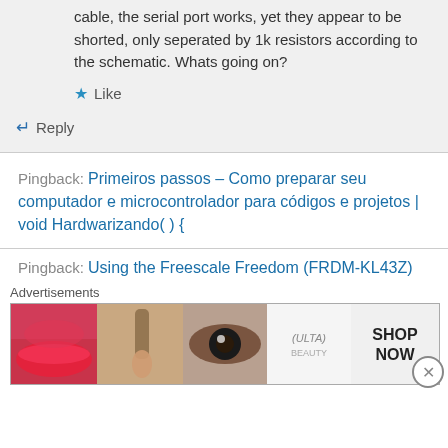cable, the serial port works, yet they appear to be shorted, only seperated by 1k resistors according to the schematic. Whats going on?
★ Like
↵ Reply
Pingback: Primeiros passos – Como preparar seu computador e microcontrolador para códigos e projetos | void Hardwarizando( ) {
Pingback: Using the Freescale Freedom (FRDM-KL43Z)
[Figure (other): Advertisement banner showing ULTA beauty cosmetics advertisement with images of lips, makeup brushes, eyes, ULTA logo, eyes with dramatic makeup, and SHOP NOW text]